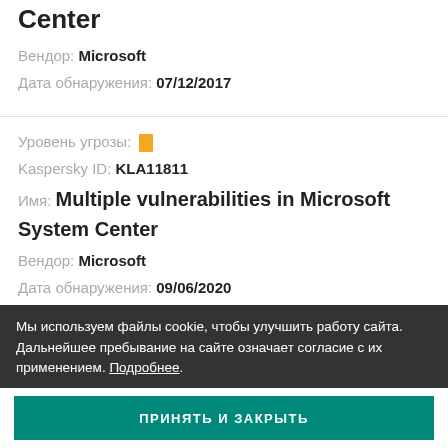Center
Вендор: Microsoft
Дата обнаружения: 07/12/2017
Уровень угрозы: [icon]
Kaspersky ID: KLA11811
Имя: Multiple vulnerabilities in Microsoft System Center
Вендор: Microsoft
Дата обнаружения: 09/06/2020
Мы используем файлы cookie, чтобы улучшить работу сайта. Дальнейшее пребывание на сайте означает согласие с их применением. Подробнее.
ПРИНЯТЬ И ЗАКРЫТЬ
Kaspersky ID: KLA10647